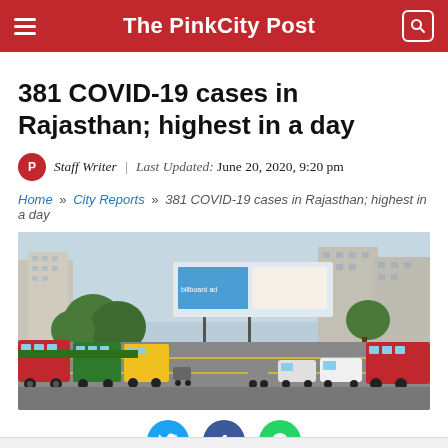The PinkCity Post
381 COVID-19 cases in Rajasthan; highest in a day
Staff Writer | Last Updated: June 20, 2020, 9:20 pm
Home » City Reports » 381 COVID-19 cases in Rajasthan; highest in a day
[Figure (photo): Street-level view of a busy urban road in Rajasthan with buses, cars, motorcycles and a large advertising billboard overhead, trees and buildings in the background.]
[Figure (infographic): Social media share buttons: Twitter (blue), Facebook (dark blue), WhatsApp (green)]